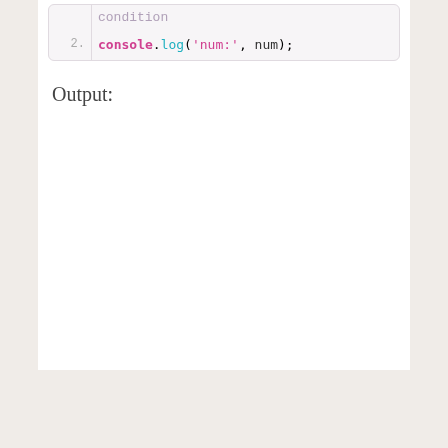[Figure (screenshot): Code block showing line 2 with 'condition' (greyed, partial) on first line and 'console.log(num:, num);' on line 2, rendered in a monospace syntax-highlighted code editor style box]
Output: